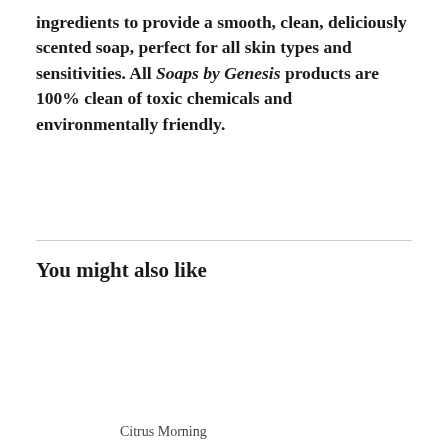ingredients to provide a smooth, clean, deliciously scented soap, perfect for all skin types and sensitivities. All Soaps by Genesis products are 100% clean of toxic chemicals and environmentally friendly.
You might also like
Citrus Morning